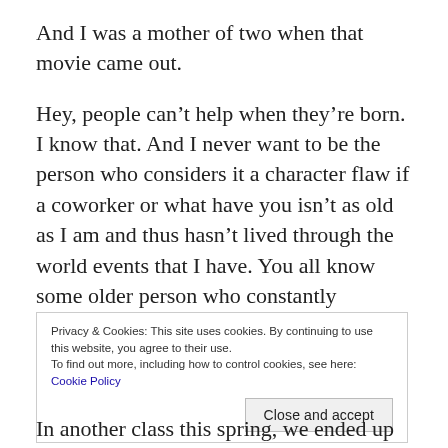And I was a mother of two when that movie came out.
Hey, people can't help when they're born. I know that. And I never want to be the person who considers it a character flaw if a coworker or what have you isn't as old as I am and thus hasn't lived through the world events that I have. You all know some older person who constantly reminds you that you didn't know how bad it was during the Depression, etc.
Privacy & Cookies: This site uses cookies. By continuing to use this website, you agree to their use.
To find out more, including how to control cookies, see here: Cookie Policy
[Close and accept]
In another class this spring, we ended up having a